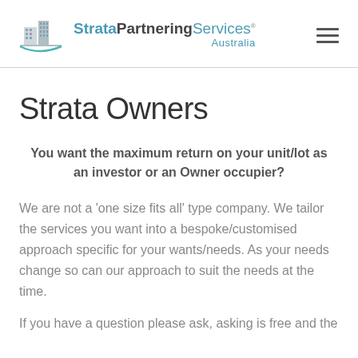Strata Partnering Services Australia
Strata Owners
You want the maximum return on your unit/lot as an investor or an Owner occupier?
We are not a 'one size fits all' type company. We tailor the services you want into a bespoke/customised approach specific for your wants/needs. As your needs change so can our approach to suit the needs at the time.
If you have a question please ask, asking is free and the